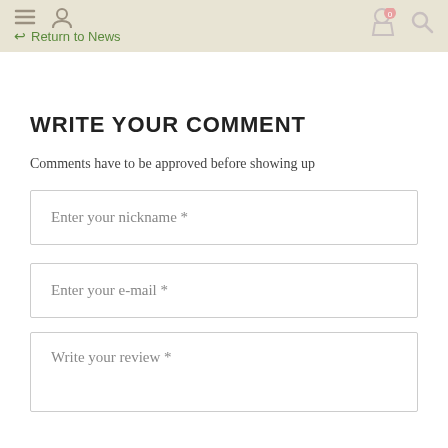Return to News
WRITE YOUR COMMENT
Comments have to be approved before showing up
Enter your nickname *
Enter your e-mail *
Write your review *